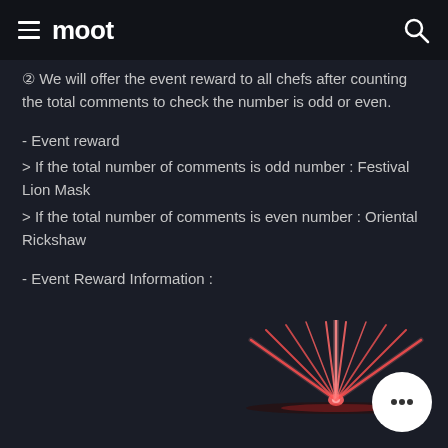moot
② We will offer the event reward to all chefs after counting the total comments to check the number is odd or even.
- Event reward
> If the total number of comments is odd number : Festival Lion Mask
> If the total number of comments is even number : Oriental Rickshaw
- Event Reward Information :
[Figure (illustration): Fireworks burst illustration with glowing red/pink light rays emanating from a central point against dark background]